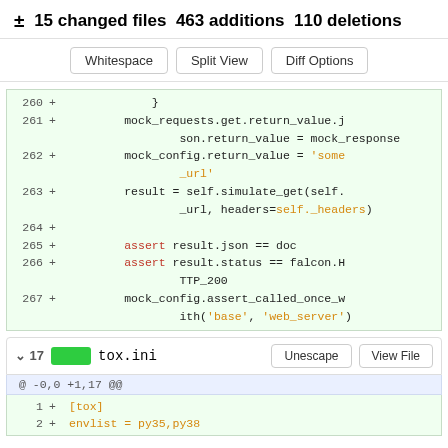± 15 changed files 463 additions 110 deletions
[Figure (screenshot): Diff view buttons: Whitespace, Split View, Diff Options]
[Figure (screenshot): Code diff block showing lines 260-267 with green added lines including mock_requests, mock_config, result, assert statements]
[Figure (screenshot): File bar for tox.ini: v 17, green badge, Unescape and View File buttons]
[Figure (screenshot): Diff hunk header: @ -0,0 +1,17 @@]
[Figure (screenshot): Code diff block showing lines 1-2 with [tox] and envlist = py35,py38 added]